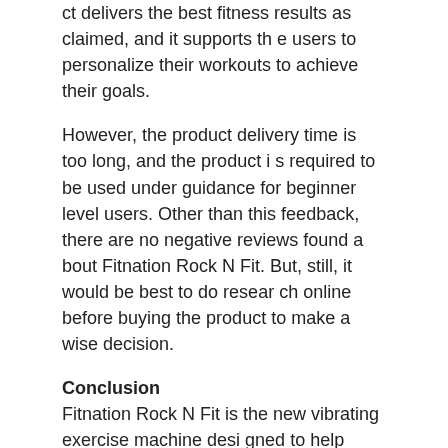ct delivers the best fitness results as claimed, and it supports the users to personalize their workouts to achieve their goals.
However, the product delivery time is too long, and the product is required to be used under guidance for beginner level users. Other than this feedback, there are no negative reviews found about Fitnation Rock N Fit. But, still, it would be best to do research online before buying the product to make a wise decision.
Conclusion
Fitnation Rock N Fit is the new vibrating exercise machine designed to help people achieve their fitness goals in real-time with minimal effort. The product claims to offer the maximum workout results using the unique body vibrating therapy.
The product has received many reviews from customers, and a majority of the users are satisfied with its results. However, we still suggest all our readers do research and look for unbiased Fitnation Rock N Fit Reviews online before making the purchasing decision.